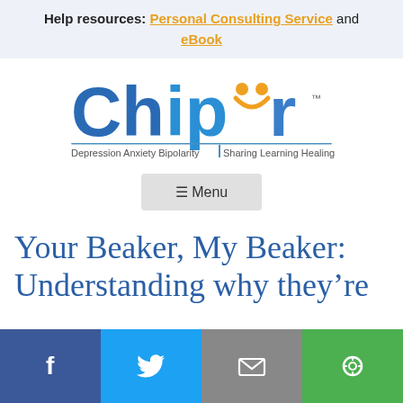Help resources: Personal Consulting Service and eBook
[Figure (logo): Chipur logo with text 'Depression Anxiety Bipolarity | Sharing Learning Healing']
≡ Menu
Your Beaker, My Beaker: Understanding why they're
[Figure (infographic): Social share bar with Facebook, Twitter, Email, and Share buttons]